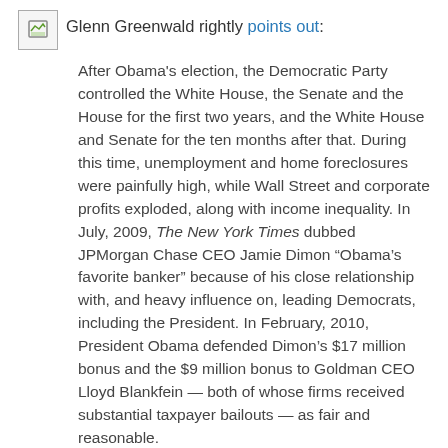Glenn Greenwald rightly points out:
After Obama's election, the Democratic Party controlled the White House, the Senate and the House for the first two years, and the White House and Senate for the ten months after that. During this time, unemployment and home foreclosures were painfully high, while Wall Street and corporate profits exploded, along with income inequality. In July, 2009, The New York Times dubbed JPMorgan Chase CEO Jamie Dimon “Obama’s favorite banker” because of his close relationship with, and heavy influence on, leading Democrats, including the President. In February, 2010, President Obama defended Dimon’s $17 million bonus and the $9 million bonus to Goldman CEO Lloyd Blankfein — both of whose firms received substantial taxpayer bailouts — as fair and reasonable.
So, should the Democrats reach out to the Occupiers? Sure, just don’t expect tons of love back. And don’t be surprised if